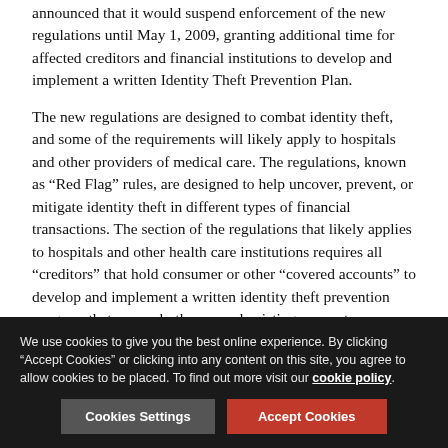announced that it would suspend enforcement of the new regulations until May 1, 2009, granting additional time for affected creditors and financial institutions to develop and implement a written Identity Theft Prevention Plan.
The new regulations are designed to combat identity theft, and some of the requirements will likely apply to hospitals and other providers of medical care. The regulations, known as “Red Flag” rules, are designed to help uncover, prevent, or mitigate identity theft in different types of financial transactions. The section of the regulations that likely applies to hospitals and other health care institutions requires all “creditors” that hold consumer or other “covered accounts” to develop and implement a written identity theft prevention program that covers both new and existing accounts.
Why are health care institutions likely covered?
We use cookies to give you the best online experience. By clicking “Accept Cookies” or clicking into any content on this site, you agree to allow cookies to be placed. To find out more visit our cookie policy.